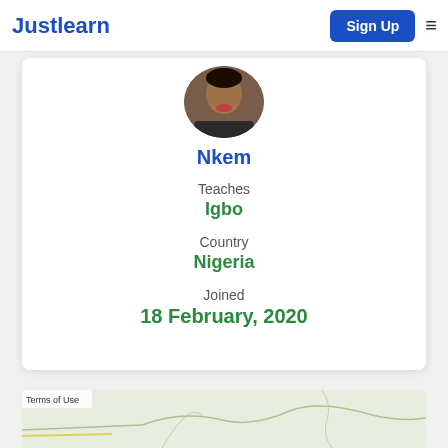Justlearn | Sign Up
[Figure (photo): Circular profile photo of a person named Nkem, cropped to show face and upper shoulders.]
Nkem
Teaches
Igbo
Country
Nigeria
Joined
18 February, 2020
[Figure (map): Partial map view showing geographic region, with 'Terms of Use' label in bottom-left corner.]